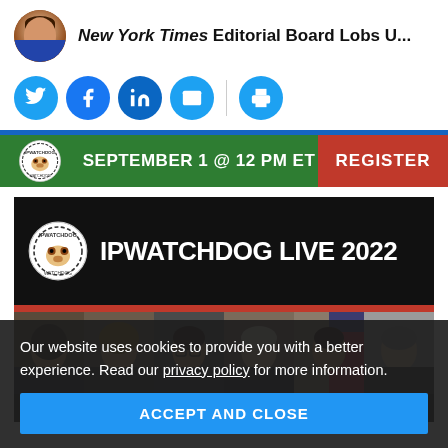New York Times Editorial Board Lobs U...
[Figure (screenshot): Social media share buttons: Twitter, Facebook, LinkedIn, Email, Print]
[Figure (infographic): IPWatchdog webinar banner: SEPTEMBER 1 @ 12 PM ET | REGISTER]
[Figure (infographic): IPWatchdog LIVE 2022 banner with logo and title text]
[Figure (photo): Row of six speaker headshots for IPWatchdog LIVE 2022]
Our website uses cookies to provide you with a better experience. Read our privacy policy for more information.
ACCEPT AND CLOSE
[Figure (infographic): Bottom strip: SEPTEMBER 11-13, 2022 | GET YOUR TICKET NOW]